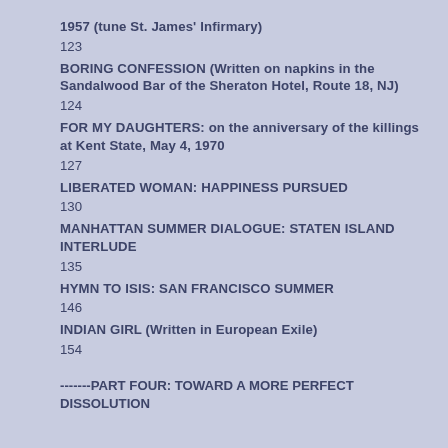1957 (tune St. James' Infirmary)
123
BORING CONFESSION (Written on napkins in the Sandalwood Bar of the Sheraton Hotel, Route 18, NJ)
124
FOR MY DAUGHTERS: on the anniversary of the killings at Kent State, May 4, 1970
127
LIBERATED WOMAN: HAPPINESS PURSUED
130
MANHATTAN SUMMER DIALOGUE: STATEN ISLAND INTERLUDE
135
HYMN TO ISIS: SAN FRANCISCO SUMMER
146
INDIAN GIRL (Written in European Exile)
154
-------PART FOUR: TOWARD A MORE PERFECT DISSOLUTION